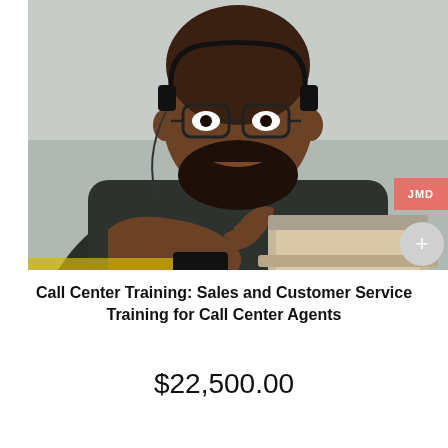[Figure (photo): A smiling Black man wearing glasses and a headset, dressed in a dark knit sweater, gesturing with his hand while sitting in front of a laptop. The setting appears to be a professional or office environment. There is a pink/salmon colored badge with 'JMD' text and a gray circular button with a plus sign overlaid on the right side of the image.]
Call Center Training: Sales and Customer Service Training for Call Center Agents
$22,500.00